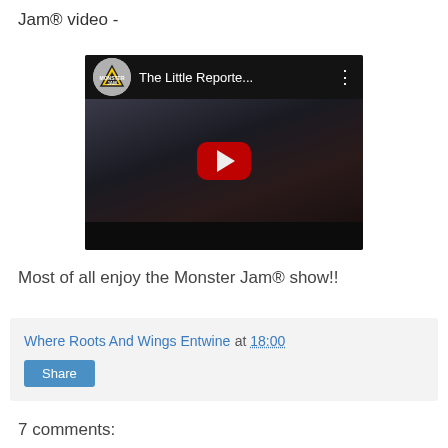Jam® video -
[Figure (screenshot): YouTube video thumbnail showing The Little Reporte... with Monster Jam logo, play button overlay, and two people in stadium setting]
Most of all enjoy the Monster Jam® show!!
Where Roots And Wings Entwine at 18:00
Share
7 comments: